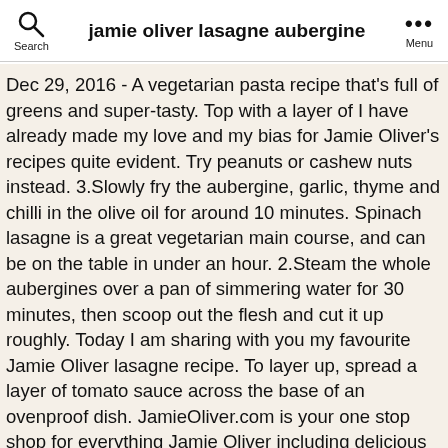Search | jamie oliver lasagne aubergine | Menu
Dec 29, 2016 - A vegetarian pasta recipe that's full of greens and super-tasty. Top with a layer of I have already made my love and my bias for Jamie Oliver's recipes quite evident. Try peanuts or cashew nuts instead. 3.Slowly fry the aubergine, garlic, thyme and chilli in the olive oil for around 10 minutes. Spinach lasagne is a great vegetarian main course, and can be on the table in under an hour. 2.Steam the whole aubergines over a pan of simmering water for 30 minutes, then scoop out the flesh and cut it up roughly. Today I am sharing with you my favourite Jamie Oliver lasagne recipe. To layer up, spread a layer of tomato sauce across the base of an ovenproof dish. JamieOliver.com is your one stop shop for everything Jamie Oliver including delicious and healthy recipes inspired from all over the world, helpful food tube videos and much more. Meanwhile, peel and finely slice the garlic and pick the thyme leaves. ... My favourite approach is Oliver's aubergine and tomato ragu, but I